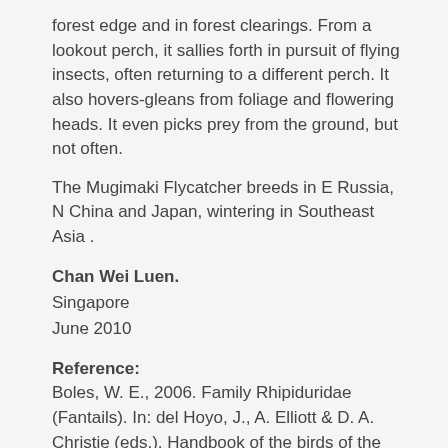forest edge and in forest clearings. From a lookout perch, it sallies forth in pursuit of flying insects, often returning to a different perch. It also hovers-gleans from foliage and flowering heads. It even picks prey from the ground, but not often.
The Mugimaki Flycatcher breeds in E Russia, N China and Japan, wintering in Southeast Asia .
Chan Wei Luen.
Singapore
June 2010
Reference:
Boles, W. E., 2006. Family Rhipiduridae (Fantails). In: del Hoyo, J., A. Elliott & D. A. Christie (eds.). Handbook of the birds of the world. Vol. 11. Old World Flycatchers to Old World Warblers. Lynx Editions, Barcelona. Pp. 200-242.
This post is a cooperative effort between NaturePixels.org and BESG to bring the study of bird behaviour through photography to a wider audience.
*NOTE: We thank Dave Bakewell for pointing out that the larva and...